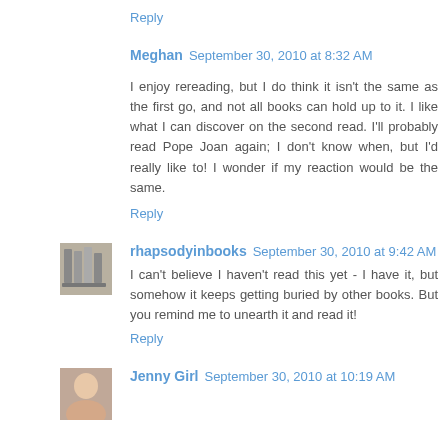Reply
Meghan  September 30, 2010 at 8:32 AM
I enjoy rereading, but I do think it isn't the same as the first go, and not all books can hold up to it. I like what I can discover on the second read. I'll probably read Pope Joan again; I don't know when, but I'd really like to! I wonder if my reaction would be the same.
Reply
rhapsodyinbooks  September 30, 2010 at 9:42 AM
I can't believe I haven't read this yet - I have it, but somehow it keeps getting buried by other books. But you remind me to unearth it and read it!
Reply
Jenny Girl  September 30, 2010 at 10:19 AM